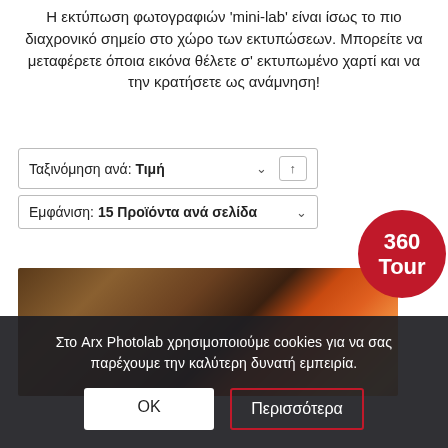Η εκτύπωση φωτογραφιών 'mini-lab' είναι ίσως το πιο διαχρονικό σημείο στο χώρο των εκτυπώσεων. Μπορείτε να μεταφέρετε όποια εικόνα θέλετε σ' εκτυπωμένο χαρτί και να την κρατήσετε ως ανάμνηση!
Ταξινόμηση ανά: Τιμή
Εμφάνιση: 15 Προϊόντα ανά σελίδα
[Figure (illustration): Red circular badge with white text '360 Tour']
[Figure (photo): Blurred colorful photo of objects on a dark background]
Στο Arx Photolab χρησιμοποιούμε cookies για να σας παρέχουμε την καλύτερη δυνατή εμπειρία.
ΟΚ
Περισσότερα